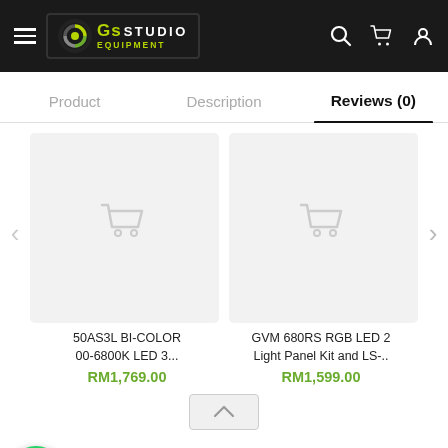Gs Studio Equipment – Navigation Bar
Product | Description | Reviews (0)
[Figure (screenshot): Product card placeholder image with cart icon for item: 50AS3L BI-COLOR 00-6800K LED 3...]
[Figure (screenshot): Product card placeholder image with cart icon for item: GVM 680RS RGB LED 2 Light Panel Kit and LS-..]
50AS3L BI-COLOR 00-6800K LED 3...
RM1,769.00
GVM 680RS RGB LED 2 Light Panel Kit and LS-..
RM1,599.00